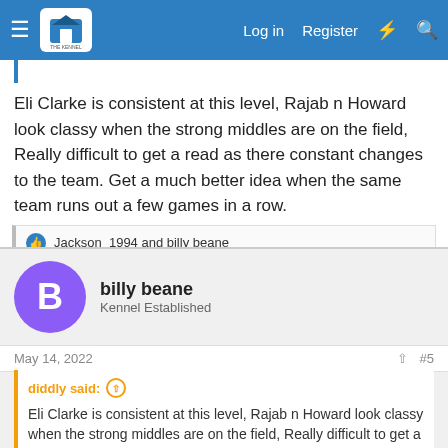Log in  Register
Eli Clarke is consistent at this level, Rajab n Howard look classy when the strong middles are on the field, Really difficult to get a read as there constant changes to the team. Get a much better idea when the same team runs out a few games in a row.
Jackson_1994 and billy beane
billy beane
Kennel Established
May 14, 2022
#5
diddly said:
Eli Clarke is consistent at this level, Rajab n Howard look classy when the strong middles are on the field, Really difficult to get a read as there constant changes to the team. Get a much better idea when the same team runs out a few games in a row.